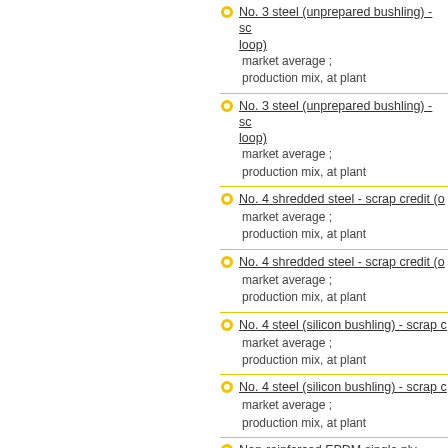No. 3 steel (unprepared bushling) - sc... loop)
market average ;
production mix, at plant
No. 3 steel (unprepared bushling) - sc... loop)
market average ;
production mix, at plant
No. 4 shredded steel - scrap credit (o...
market average ;
production mix, at plant
No. 4 shredded steel - scrap credit (o...
market average ;
production mix, at plant
No. 4 steel (silicon bushling) - scrap c...
market average ;
production mix, at plant
No. 4 steel (silicon bushling) - scrap c...
market average ;
production mix, at plant
Non-reinforced EPDM single ply roofin... mils, A1-A3 - SPRI
industry mix ;
production mix (at plant) ;
single ply roofing membrane thickness
Non-reinforced EPDM single ply roofin... mils installation (AF) - SPRI